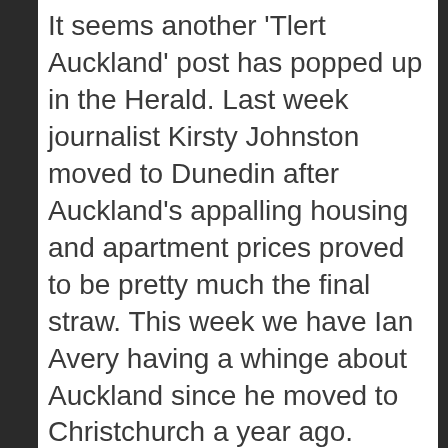It seems another 'Tlert Auckland' post has popped up in the Herald. Last week journalist Kirsty Johnston moved to Dunedin after Auckland's appalling housing and apartment prices proved to be pretty much the final straw. This week we have Ian Avery having a whinge about Auckland since he moved to Christchurch a year ago.
Kirsty I could feel for when housing is that out of reach and the traffic totally sucks. I wish Kirsty well on her new endeavours in Dunedin and hope the City might 'beckon' her home as we finally get things moving in the housing and transport departments.